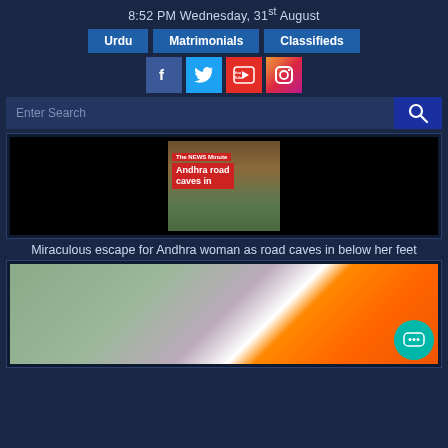8:52 PM Wednesday, 31st August
Urdu | Matrimonials | Classifieds
[Figure (screenshot): Social media icons: Facebook, Twitter, YouTube, Instagram]
Enter Search
[Figure (screenshot): Video thumbnail showing Andhra road cave-in, with The News Minute branding and text 'Andhra road caves in']
Miraculous escape for Andhra woman as road caves in below her feet
[Figure (photo): Photo of a saffron and white Congress party flag being held up]